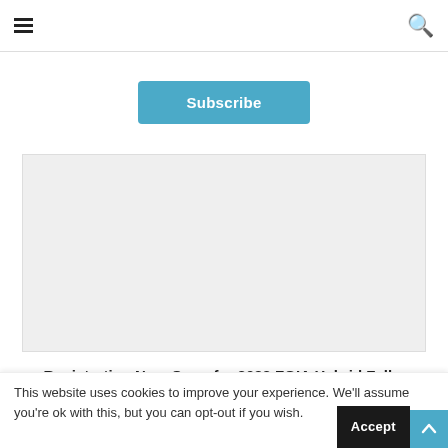≡  [search icon]
[Figure (other): Subscribe button (blue, rounded rectangle) centered on white background]
[Figure (other): Gray placeholder image/advertisement block]
Registration Now Open for 2022 FGIA Hybrid Fall...
This website uses cookies to improve your experience. We'll assume you're ok with this, but you can opt-out if you wish.
Accept